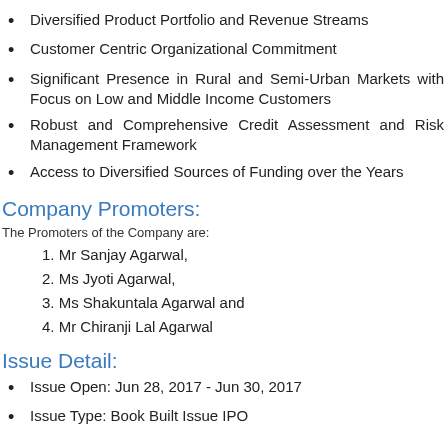Diversified Product Portfolio and Revenue Streams
Customer Centric Organizational Commitment
Significant Presence in Rural and Semi-Urban Markets with Focus on Low and Middle Income Customers
Robust and Comprehensive Credit Assessment and Risk Management Framework
Access to Diversified Sources of Funding over the Years
Company Promoters:
The Promoters of the Company are:
1. Mr Sanjay Agarwal,
2. Ms Jyoti Agarwal,
3. Ms Shakuntala Agarwal and
4. Mr Chiranji Lal Agarwal
Issue Detail:
Issue Open: Jun 28, 2017 - Jun 30, 2017
Issue Type: Book Built Issue IPO